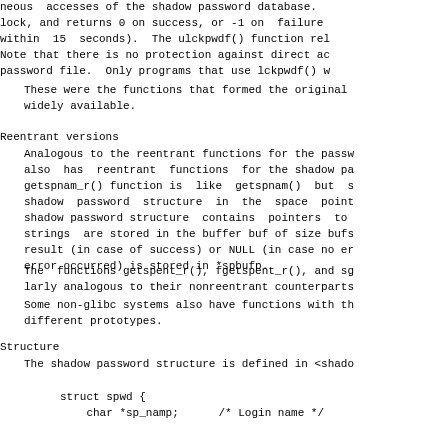neous  accesses of the shadow password database.
lock, and returns 0 on success, or -1 on  failure
within  15  seconds).  The ulckpwdf() function rel
Note that there is no protection against direct ac
password file.  Only programs that use lckpwdf() w
These were the functions that formed the original
widely available.
Reentrant versions
Analogous to the reentrant functions for the passw
also  has  reentrant  functions  for the shadow pa
getspnam_r() function is  like  getspnam()  but  s
shadow  password  structure  in  the  space  point
shadow password structure  contains  pointers  to
strings  are stored in the buffer buf of size bufs
result (in case of success) or NULL (in case no er
error occurred) is stored in *spbufp.
The  functions getspent_r(), fgetspent_r(), and sg
larly analogous to their nonreentrant counterparts
Some non-glibc systems also have functions with th
different prototypes.
Structure
The shadow password structure is defined in <shado